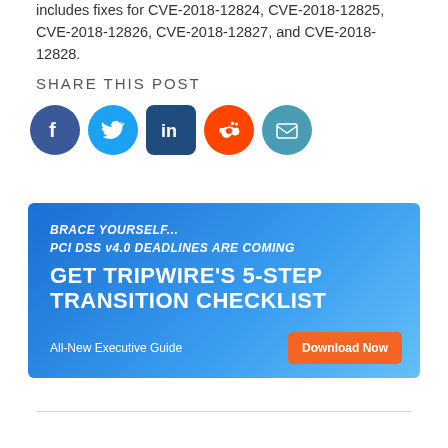includes fixes for CVE-2018-12824, CVE-2018-12825, CVE-2018-12826, CVE-2018-12827, and CVE-2018-12828.
SHARE THIS POST
[Figure (infographic): Row of social media sharing icons: Facebook (blue circle), Twitter (light blue circle), LinkedIn (dark blue rounded square), Reddit (orange circle), Email (teal circle)]
[Figure (infographic): Advertisement banner with blue gradient background. Text: BRACE YOURSELF... PCI DSS v4.0 DEADLINES ARE COMING / GET TRIPWIRE'S 5-STEP TRANSITION CHECKLIST / All-New Executive Guide / Download Now button in orange]